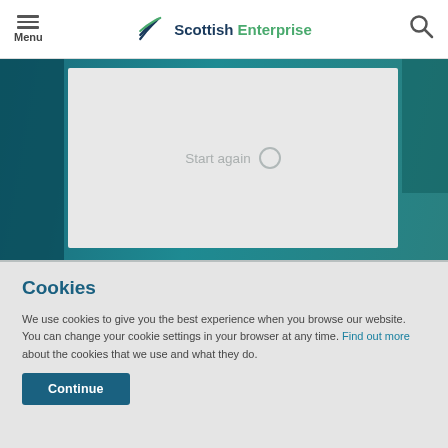Menu | Scottish Enterprise
[Figure (screenshot): Scottish Enterprise website header with menu icon, logo, and search icon]
Start again
Cookies
We use cookies to give you the best experience when you browse our website. You can change your cookie settings in your browser at any time. Find out more about the cookies that we use and what they do.
Continue